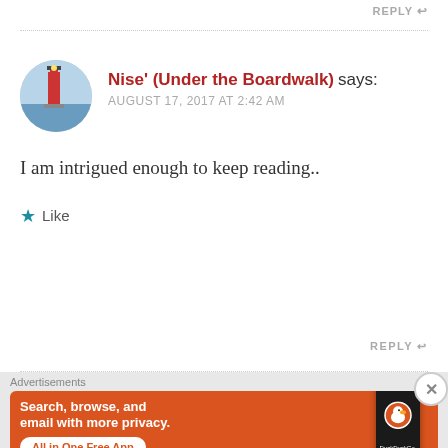REPLY ↩
Nise' (Under the Boardwalk) says: AUGUST 17, 2017 AT 2:42 AM
I am intrigued enough to keep reading..
★ Like
REPLY ↩
[Figure (infographic): DuckDuckGo advertisement banner: orange background with text 'Search, browse, and email with more privacy. All in One Free App' and DuckDuckGo logo on a phone mockup]